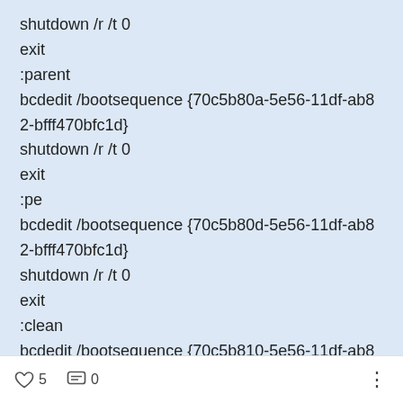shutdown /r /t 0
exit
:parent
bcdedit /bootsequence {70c5b80a-5e56-11df-ab82-bfff470bfc1d}
shutdown /r /t 0
exit
:pe
bcdedit /bootsequence {70c5b80d-5e56-11df-ab82-bfff470bfc1d}
shutdown /r /t 0
exit
:clean
bcdedit /bootsequence {70c5b810-5e56-11df-ab82-
5  0  ⋮